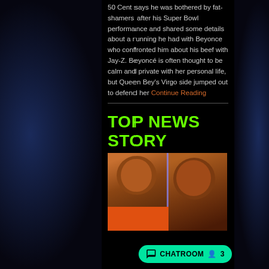50 Cent says he was bothered by fat-shamers after his Super Bowl performance and shared some details about a running he had with Beyonce who confronted him about his beef with Jay-Z. Beyoncé is often thought to be calm and private with her personal life, but Queen Bey's Virgo side jumped out to defend her Continue Reading
TOP NEWS STORY
[Figure (photo): Two men shown side by side; left man in orange shirt, right man facing forward. A vertical blue/purple line divides the two images.]
CHATROOM 3